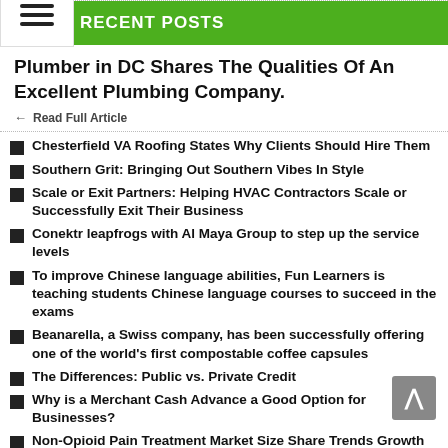RECENT POSTS
Plumber in DC Shares The Qualities Of An Excellent Plumbing Company.
Read Full Article
Chesterfield VA Roofing States Why Clients Should Hire Them
Southern Grit: Bringing Out Southern Vibes In Style
Scale or Exit Partners: Helping HVAC Contractors Scale or Successfully Exit Their Business
Conektr leapfrogs with Al Maya Group to step up the service levels
To improve Chinese language abilities, Fun Learners is teaching students Chinese language courses to succeed in the exams
Beanarella, a Swiss company, has been successfully offering one of the world's first compostable coffee capsules
The Differences: Public vs. Private Credit
Why is a Merchant Cash Advance a Good Option for Businesses?
Non-Opioid Pain Treatment Market Size Share Trends Growth